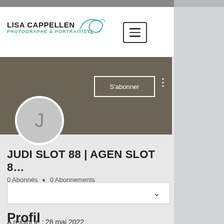[Figure (logo): Lisa Cappellen Photographe & Portraitiste logo with teal cursive decoration]
[Figure (screenshot): User profile page showing JUDI SLOT 88 | AGEN SLOT 8... with 0 Abonnés and 0 Abonnements, S'abonner button, avatar circle with J, dropdown box with chevron, Profil section, and A rejoint le : 28 mai 2022]